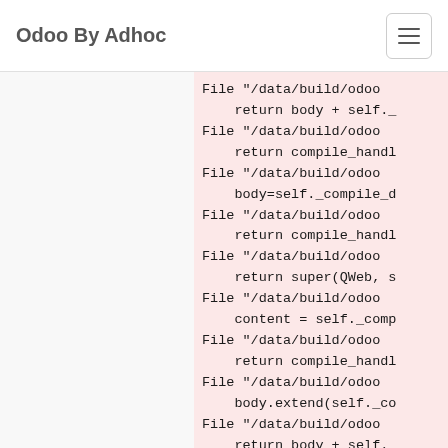Odoo By Adhoc
File "/data/build/odoo
    return body + self._
File "/data/build/odoo
    return compile_handl
File "/data/build/odoo
    body=self._compile_d
File "/data/build/odoo
    return compile_handl
File "/data/build/odoo
    return super(QWeb, s
File "/data/build/odoo
    content = self._comp
File "/data/build/odoo
    return compile_handl
File "/data/build/odoo
    body.extend(self._co
File "/data/build/odoo
    return body + self._
File "/data/build/odoo
    return compile_handl
File "/data/build/odoo
    return super(QWeb,